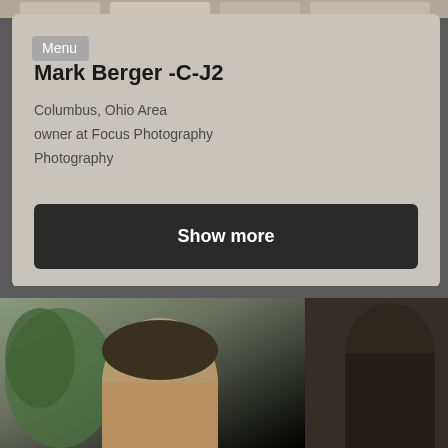[Figure (screenshot): Top image strip showing partial photos]
Menu
Mark Berger -C-J2
Columbus, Ohio Area
owner at Focus Photography
Photography
Show more
[Figure (photo): Two side-by-side profile photos at the bottom of the page, partially visible]